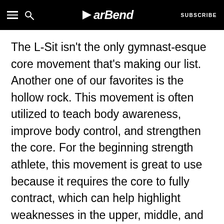BarBend — SUBSCRIBE
The L-Sit isn't the only gymnast-esque core movement that's making our list. Another one of our favorites is the hollow rock. This movement is often utilized to teach body awareness, improve body control, and strengthen the core. For the beginning strength athlete, this movement is great to use because it requires the core to fully contract, which can help highlight weaknesses in the upper, middle, and